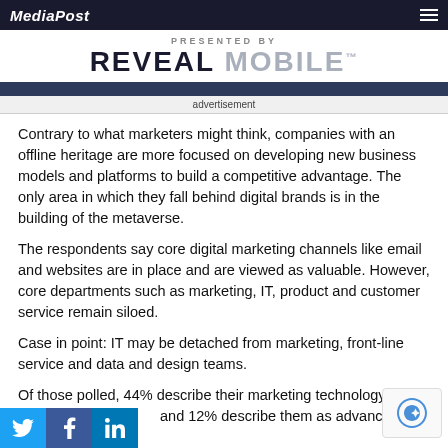MediaPost
[Figure (logo): PRESENTED BY REVEAL MOBILE logo]
advertisement
Contrary to what marketers might think, companies with an offline heritage are more focused on developing new business models and platforms to build a competitive advantage. The only area in which they fall behind digital brands is in the building of the metaverse.
The respondents say core digital marketing channels like email and websites are in place and are viewed as valuable. However, core departments such as marketing, IT, product and customer service remain siloed.
Case in point: IT may be detached from marketing, front-line service and data and design teams.
Of those polled, 44% describe their marketing technology as... and 12% describe them as advanced.